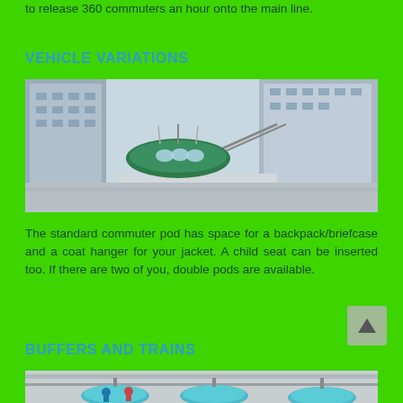to release 360 commuters an hour onto the main line.
VEHICLE VARIATIONS
[Figure (photo): Aerial/elevated view of a pod transport system vehicle on a rail track between tall city buildings, showing a large oval-shaped commuter pod]
The standard commuter pod has space for a backpack/briefcase and a coat hanger for your jacket. A child seat can be inserted too. If there are two of you, double pods are available.
BUFFERS AND TRAINS
[Figure (photo): Close-up photo of pod transport vehicles, showing passenger pods suspended from a rail system with people visible inside]